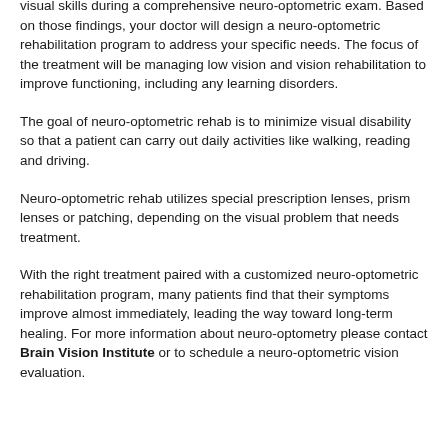visual skills during a comprehensive neuro-optometric exam. Based on those findings, your doctor will design a neuro-optometric rehabilitation program to address your specific needs. The focus of the treatment will be managing low vision and vision rehabilitation to improve functioning, including any learning disorders.
The goal of neuro-optometric rehab is to minimize visual disability so that a patient can carry out daily activities like walking, reading and driving.
Neuro-optometric rehab utilizes special prescription lenses, prism lenses or patching, depending on the visual problem that needs treatment.
With the right treatment paired with a customized neuro-optometric rehabilitation program, many patients find that their symptoms improve almost immediately, leading the way toward long-term healing. For more information about neuro-optometry please contact Brain Vision Institute or to schedule a neuro-optometric vision evaluation.